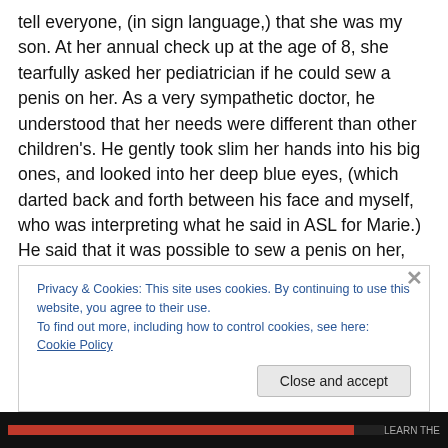tell everyone, (in sign language,) that she was my son. At her annual check up at the age of 8, she tearfully asked her pediatrician if he could sew a penis on her. As a very sympathetic doctor, he understood that her needs were different than other children's. He gently took slim her hands into his big ones, and looked into her deep blue eyes, (which darted back and forth between his face and myself, who was interpreting what he said in ASL for Marie.) He said that it was possible to sew a penis on her, but that she had to wait until she was fully grown to make that decision. Relieved that at least it was a possibility in
Privacy & Cookies: This site uses cookies. By continuing to use this website, you agree to their use.
To find out more, including how to control cookies, see here: Cookie Policy